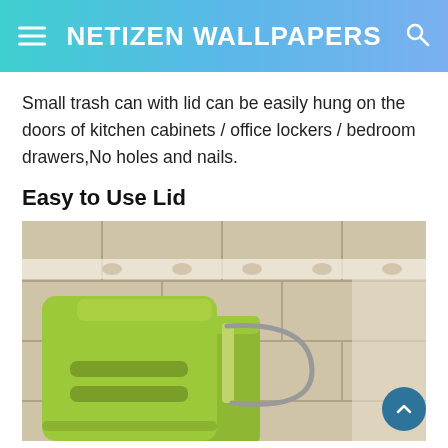NETIZEN WALLPAPERS
Small trash can with lid can be easily hung on the doors of kitchen cabinets / office lockers / bedroom drawers,No holes and nails.
Easy to Use Lid
[Figure (photo): A green plastic trash can with a lid featuring horizontal slots, hanging with a metal handle against a beige tiled wall.]